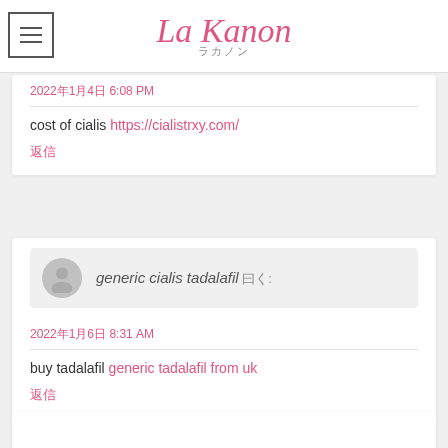La Kanon ラカノン
2022年1月4日 6:08 PM
cost of cialis https://cialistrxy.com/
返信
generic cialis tadalafil 曰く:
2022年1月6日 8:31 AM
buy tadalafil generic tadalafil from uk
返信